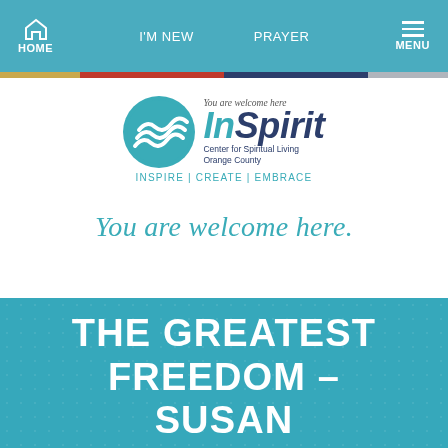HOME | I'M NEW | PRAYER | MENU
[Figure (logo): InSpirit Center for Spiritual Living Orange County logo with teal circle and wave design. Tagline: INSPIRE | CREATE | EMBRACE. Small text: You are welcome here]
You are welcome here.
THE GREATEST FREEDOM – SUSAN ROBERTSON